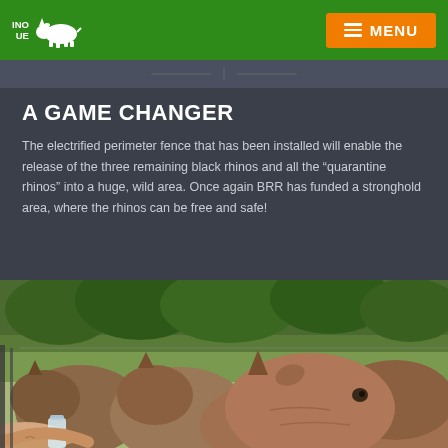RHINO RESCUE — MENU navigation bar
A GAME CHANGER
The electrified perimeter fence that has been installed will enable the release of the three remaining black rhinos and all the “quarantine rhinos” into a huge, wild area. Once again BRR has funded a stronghold area, where the rhinos can be free and safe!
[Figure (photo): Photograph of multiple rhinos lined up close together, being fed by human hands through a fence, with green trees and a wire fence visible in the background.]